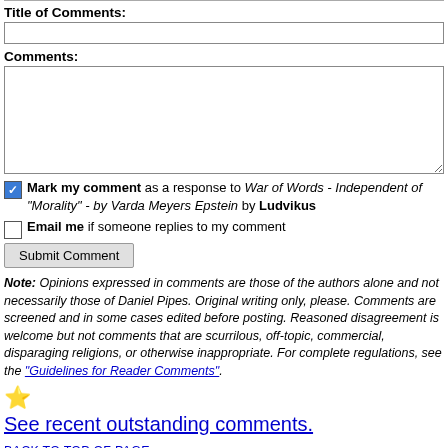Title of Comments:
Comments:
Mark my comment as a response to War of Words - Independent of "Morality" - by Varda Meyers Epstein by Ludvikus
Email me if someone replies to my comment
Submit Comment
Note: Opinions expressed in comments are those of the authors alone and not necessarily those of Daniel Pipes. Original writing only, please. Comments are screened and in some cases edited before posting. Reasoned disagreement is welcome but not comments that are scurrilous, off-topic, commercial, disparaging religions, or otherwise inappropriate. For complete regulations, see the "Guidelines for Reader Comments".
See recent outstanding comments.
BACK TO TOP OF PAGE